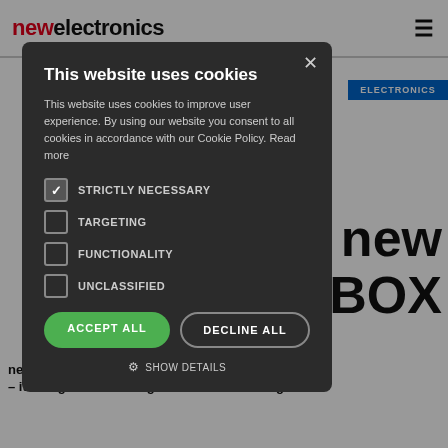newelectronics
[Figure (screenshot): Blue ELECTRONICS badge on right side of page]
n new -BOX
This website uses cookies
This website uses cookies to improve user experience. By using our website you consent to all cookies in accordance with our Cookie Policy. Read more
STRICTLY NECESSARY
TARGETING
FUNCTIONALITY
UNCLASSIFIED
ACCEPT ALL
DECLINE ALL
SHOW DETAILS
ned IN-BOX – its toughest ever range of industrial-strength